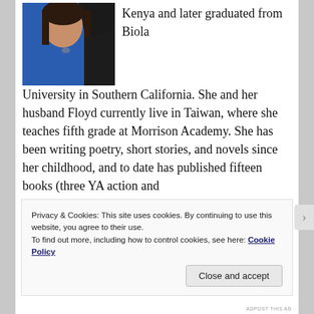[Figure (photo): Woman in blue top with dark hair, partial upper body photo]
Kenya and later graduated from Biola University in Southern California. She and her husband Floyd currently live in Taiwan, where she teaches fifth grade at Morrison Academy. She has been writing poetry, short stories, and novels since her childhood, and to date has published fifteen books (three YA action and
Privacy & Cookies: This site uses cookies. By continuing to use this website, you agree to their use.
To find out more, including how to control cookies, see here: Cookie Policy
Close and accept